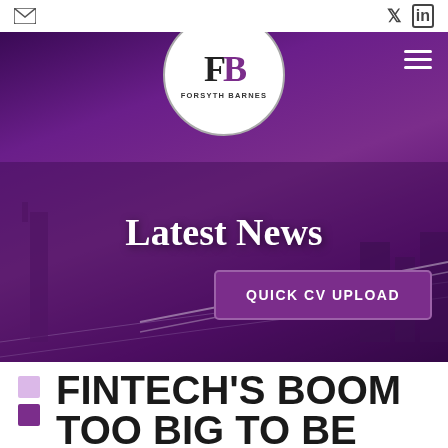Email icon, Twitter icon, LinkedIn icon
[Figure (screenshot): Forsyth Barnes website hero section with purple-tinted cityscape of London background, circular logo with FB letters and FORSYTH BARNES text, hamburger menu icon, Latest News heading, and QUICK CV UPLOAD button]
FINTECH'S BOOM TOO BIG TO BE